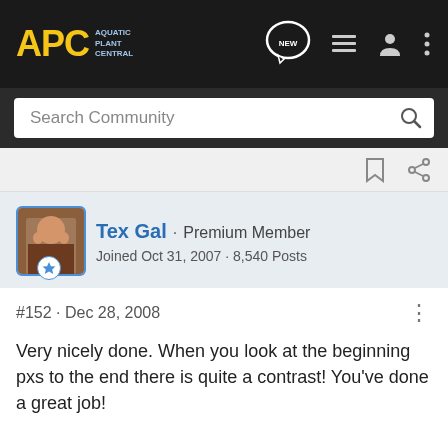APC Aquatic Plant Central
Search Community
Tex Gal · Premium Member
Joined Oct 31, 2007 · 8,540 Posts
#152 · Dec 28, 2008
Very nicely done. When you look at the beginning pxs to the end there is quite a contrast! You've done a great job!
Tex Gal's Reasons